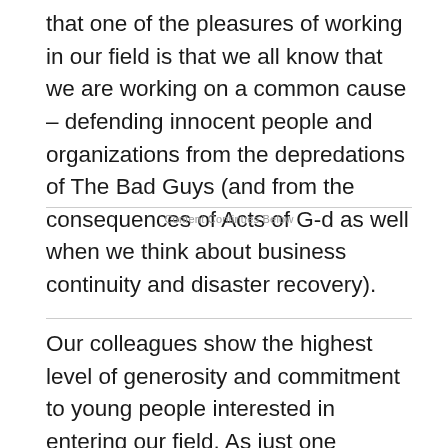that one of the pleasures of working in our field is that we all know that we are working on a common cause – defending innocent people and organizations from the depredations of The Bad Guys (and from the consequences of Acts of G-d as well when we think about business continuity and disaster recovery).
Content Continues Below
Our colleagues show the highest level of generosity and commitment to young people interested in entering our field. As just one example, I cannot think of a single time that a security professional has refused an invitation to address one of my university